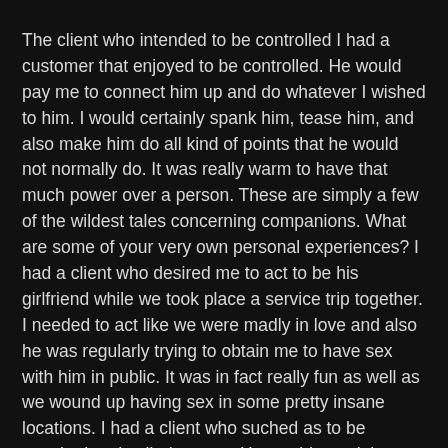The client who intended to be controlled I had a customer that enjoyed to be controlled. He would pay me to connect him up and do whatever I wished to him. I would certainly spank him, tease him, and also make him do all kind of points that he would not normally do. It was really warm to have that much power over a person. These are simply a few of the wildest tales concerning companions. What are some of your very own personal experiences? I had a client who desired me to act to be his girlfriend while we took place a service trip together. I needed to act like we were madly in love and also he was regularly trying to obtain me to have sex with him in public. It was in fact really fun as well as we wound up having sex in some pretty insane locations. I had a client who suched as to be spanked and called names. He would certainly always schedule me for an hour, however he would just wish to see me for the last half an hour. He would pay me added